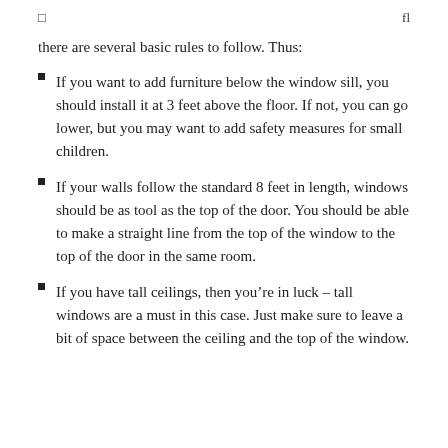[] fl
there are several basic rules to follow. Thus:
If you want to add furniture below the window sill, you should install it at 3 feet above the floor. If not, you can go lower, but you may want to add safety measures for small children.
If your walls follow the standard 8 feet in length, windows should be as tool as the top of the door. You should be able to make a straight line from the top of the window to the top of the door in the same room.
If you have tall ceilings, then you’re in luck – tall windows are a must in this case. Just make sure to leave a bit of space between the ceiling and the top of the window.